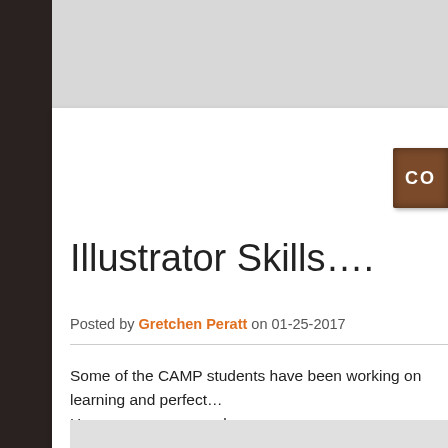Illustrator Skills….
Posted by Gretchen Peratt on 01-25-2017
Some of the CAMP students have been working on learning and perfect… Here are some examples...
[Figure (illustration): A circular emblem with a dark red/maroon background featuring a gray crown shape in the center, created as an Illustrator artwork example.]